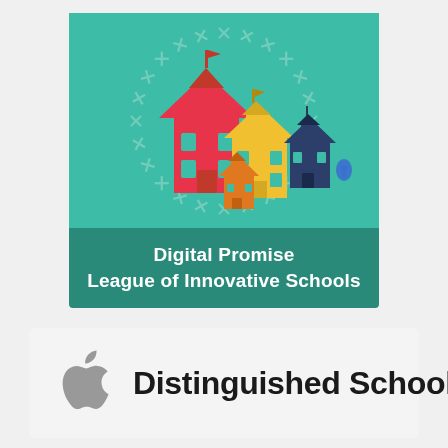[Figure (logo): Digital Promise League of Innovative Schools badge: teal square with stylized school buildings (red large, yellow medium, orange small, dark navy smallest) in the center, surrounded by a circle of small asterisk/X figures in gray. Dark teal banner at bottom reads 'Digital Promise League of Innovative Schools' in white bold text.]
[Figure (logo): Apple Distinguished School logo: gray Apple logo icon on the left, followed by bold black text 'Distinguished School' on a light gray rounded rectangle background.]